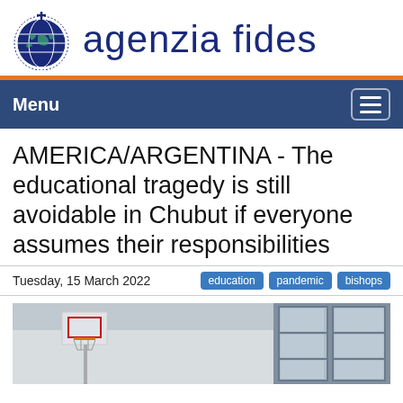[Figure (logo): Agenzia Fides logo with globe icon and blue text]
Menu
AMERICA/ARGENTINA - The educational tragedy is still avoidable in Chubut if everyone assumes their responsibilities
Tuesday, 15 March 2022
education  pandemic  bishops
[Figure (photo): Exterior of a school building with a basketball hoop and large windows]